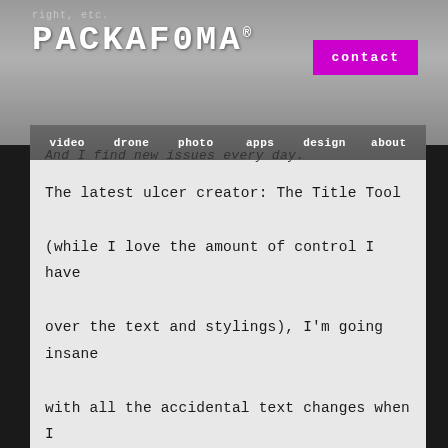right, etc. PACKAFOMA
contact
video  drone  photo  apps  design  about
And I find new issues every day.
The latest ulcer creator: The Title Tool (while I love the amount of control I have over the text and stylings), I'm going insane with all the accidental text changes when I learn the title card didn't fully “duplicate”. If I wanted a “parent” title card, I'd nest it and duplicate that! As it is, every time I Alt+Drag a lower third, I have to zoom in to read the clip name and make sure the ‘Blah_blah_title_copy123834764’ incremented up, lest I change it and not